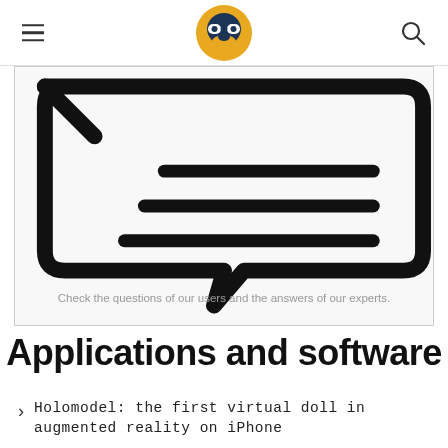Header with logo, hamburger menu, and search icon
[Figure (illustration): Large chat/speech bubble icon with three horizontal lines inside, representing a Q&A or messaging interface. Black outline on white/light gray background.]
Check the questions of our users and the answers of our experts.
Applications and software
Holomodel: the first virtual doll in augmented reality on iPhone